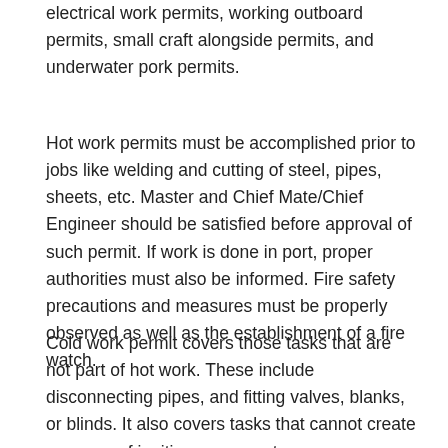electrical work permits, working outboard permits, small craft alongside permits, and underwater pork permits.
Hot work permits must be accomplished prior to jobs like welding and cutting of steel, pipes, sheets, etc. Master and Chief Mate/Chief Engineer should be satisfied before approval of such permit. If work is done in port, proper authorities must also be informed. Fire safety precautions and measures must be properly observed as well as the establishment of a fire watch.
Cold work permit covers those tasks that are not part of hot work. These include disconnecting pipes, and fitting valves, blanks, or blinds. It also covers tasks that cannot create a source of ignition or generate temperature conditions like that of sufficient ignit...